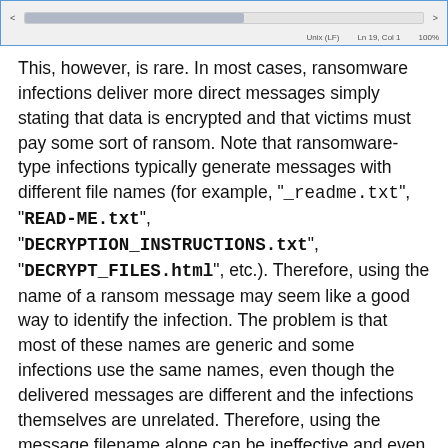[Figure (screenshot): Text editor status bar showing scrollbar, Unix (LF), Ln 19 Col 1, 100%]
This, however, is rare. In most cases, ransomware infections deliver more direct messages simply stating that data is encrypted and that victims must pay some sort of ransom. Note that ransomware-type infections typically generate messages with different file names (for example, "_readme.txt", "READ-ME.txt", "DECRYPTION_INSTRUCTIONS.txt", "DECRYPT_FILES.html", etc.). Therefore, using the name of a ransom message may seem like a good way to identify the infection. The problem is that most of these names are generic and some infections use the same names, even though the delivered messages are different and the infections themselves are unrelated. Therefore, using the message filename alone can be ineffective and even lead to permanent data loss (for example, by attempting to decrypt data using tools designed for different ransomware infections, users are likely to end up permanently damaging